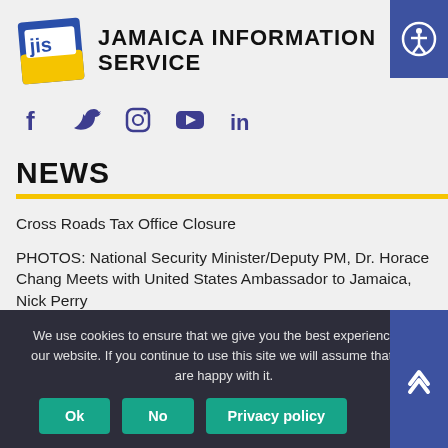JAMAICA INFORMATION SERVICE
[Figure (logo): Jamaica Information Service (JIS) logo — blue square with yellow 'jis' text]
[Figure (infographic): Social media icons: Facebook, Twitter, Instagram, YouTube, LinkedIn in dark blue/purple color]
NEWS
Cross Roads Tax Office Closure
PHOTOS: National Security Minister/Deputy PM, Dr. Horace Chang Meets with United States Ambassador to Jamaica, Nick Perry
We use cookies to ensure that we give you the best experience on our website. If you continue to use this site we will assume that you are happy with it.